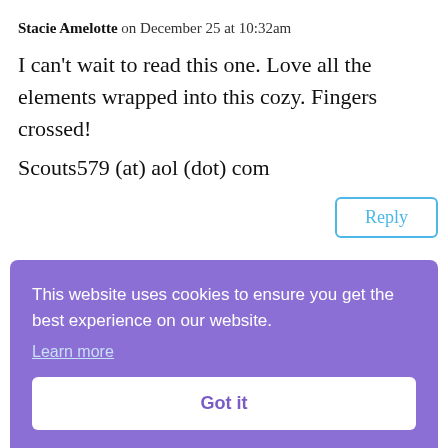Stacie Amelotte on December 25 at 10:32am
I can't wait to read this one. Love all the elements wrapped into this cozy. Fingers crossed!
Scouts579 (at) aol (dot) com
Reply
This website uses cookies to ensure you get the best experience on our website.
Learn more
Got it